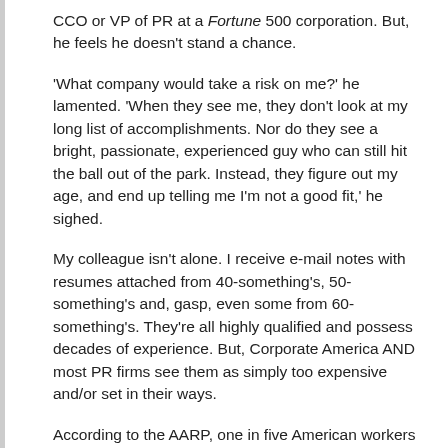CCO or VP of PR at a Fortune 500 corporation. But, he feels he doesn't stand a chance.
'What company would take a risk on me?' he lamented. 'When they see me, they don't look at my long list of accomplishments. Nor do they see a bright, passionate, experienced guy who can still hit the ball out of the park. Instead, they figure out my age, and end up telling me I'm not a good fit,' he sighed.
My colleague isn't alone. I receive e-mail notes with resumes attached from 40-something's, 50-something's and, gasp, even some from 60-something's. They're all highly qualified and possess decades of experience. But, Corporate America AND most PR firms see them as simply too expensive and/or set in their ways.
According to the AARP, one in five American workers is now 50 years of age, or older (insert infographic below). Two-thirds have experienced age discrimination in the workplace. And more than half believe discrimination begins once one hits the big five-oh.
Ageism in the PR world is YET another unpleasant topic our